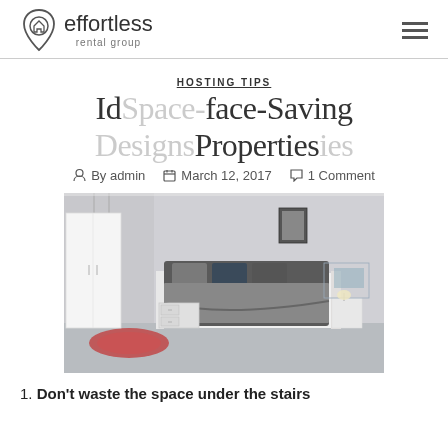effortless rental group
HOSTING TIPS
Id Space-Saving face-Saving Properties Designs
By admin   March 12, 2017   1 Comment
[Figure (photo): Modern bedroom with white platform bed with built-in storage drawers, hanging pendant lights, and contemporary furniture on a light gray floor]
1. Don't waste the space under the stairs